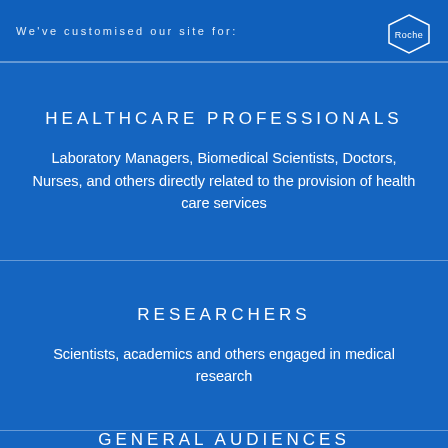We've customised our site for:
[Figure (logo): Roche hexagon logo in top right corner]
HEALTHCARE PROFESSIONALS
Laboratory Managers, Biomedical Scientists, Doctors, Nurses, and others directly related to the provision of health care services
RESEARCHERS
Scientists, academics and others engaged in medical research
GENERAL AUDIENCES